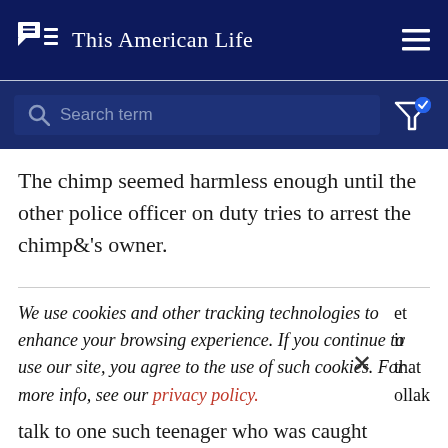This American Life
[Figure (screenshot): Search bar with placeholder text 'Search term' and a filter icon with checkmark]
The chimp seemed harmless enough until the other police officer on duty tries to arrest the chimp&'s owner.
We use cookies and other tracking technologies to enhance your browsing experience. If you continue to use our site, you agree to the use of such cookies. For more info, see our privacy policy.
talk to one such teenager who was caught stealing from a